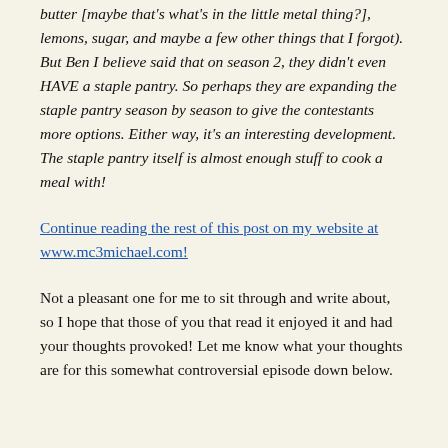butter [maybe that's what's in the little metal thing?], lemons, sugar, and maybe a few other things that I forgot). But Ben I believe said that on season 2, they didn't even HAVE a staple pantry. So perhaps they are expanding the staple pantry season by season to give the contestants more options. Either way, it's an interesting development. The staple pantry itself is almost enough stuff to cook a meal with!
Continue reading the rest of this post on my website at www.mc3michael.com!
Not a pleasant one for me to sit through and write about, so I hope that those of you that read it enjoyed it and had your thoughts provoked! Let me know what your thoughts are for this somewhat controversial episode down below.